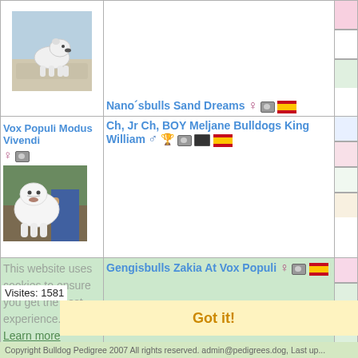[Figure (photo): Photo of a bulldog standing on a stone surface outdoors]
Nano´sbulls Sand Dreams ♀ [cam] [Spain flag]
Vox Populi Modus Vivendi ♀ [cam]
Ch, Jr Ch, BOY Meljane Bulldogs King William ♂ [medal] [cam] [film] [Spain flag]
[Figure (photo): Photo of a white bulldog being held by a person]
Gengisbulls Zakia At Vox Populi ♀ [cam] [Spain flag]
This website uses cookies to ensure you get the best experience. Learn more
Got it!
Visites: 1581
Copyright Bulldog Pedigree 2007 All rights reserved. admin@pedigrees.dog, Last up...